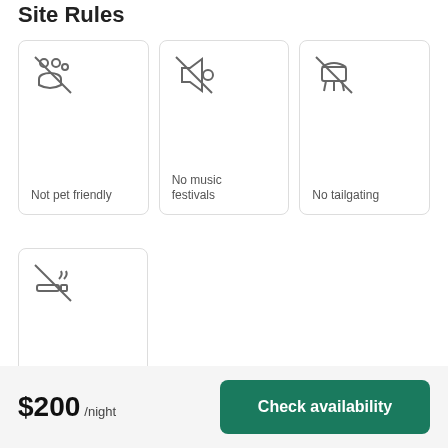Site Rules
[Figure (illustration): No pets allowed icon (crossed out people/pets silhouette)]
Not pet friendly
[Figure (illustration): No music festivals icon (crossed out speaker/music note)]
No music festivals
[Figure (illustration): No tailgating icon (crossed out BBQ/grill)]
No tailgating
[Figure (illustration): No smoking icon (crossed out cigarette)]
No smoking
$200 /night
Check availability